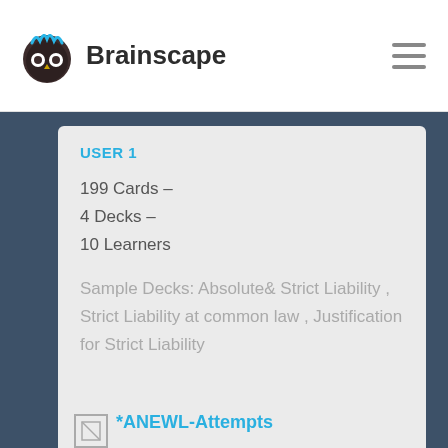[Figure (logo): Brainscape logo with owl/brain icon and text 'Brainscape']
USER 1
199 Cards –
4 Decks –
10 Learners
Sample Decks: Absolute& Strict Liability , Strict Liability at common law , Justification for Strict Liability
*ANEWL-Attempts
*ANEWL